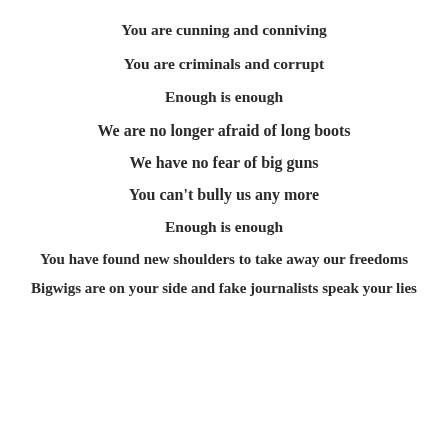You are cunning and conniving
You are criminals and corrupt
Enough is enough
We are no longer afraid of long boots
We have no fear of big guns
You can't bully us any more
Enough is enough
You have found new shoulders to take away our freedoms
Bigwigs are on your side and fake journalists speak your lies